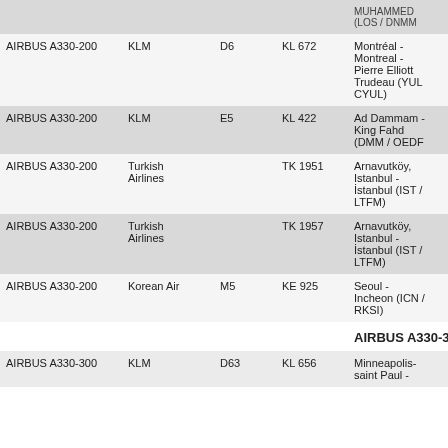| Aircraft | Airline | Gate | Flight | Destination |
| --- | --- | --- | --- | --- |
| AIRBUS A330-200 | KLM | D6 | KL 672 | Montréal - Montreal - Pierre Elliott Trudeau (YUL / CYUL) |
| AIRBUS A330-200 | KLM | E5 | KL 422 | Ad Dammam - King Fahd (DMM / OEDF) |
| AIRBUS A330-200 | Turkish Airlines |  | TK 1951 | Arnavutköy, Istanbul - İstanbul (IST / LTFM) |
| AIRBUS A330-200 | Turkish Airlines |  | TK 1957 | Arnavutköy, Istanbul - İstanbul (IST / LTFM) |
| AIRBUS A330-200 | Korean Air | M5 | KE 925 | Seoul - Incheon (ICN / RKSI) |
| AIRBUS A330-300 | KLM | D63 | KL 656 | Minneapolis-saint Paul - |